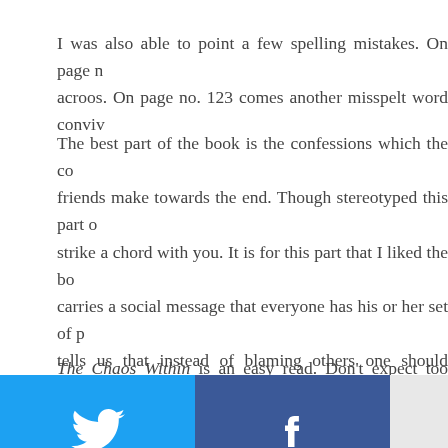I was also able to point a few spelling mistakes. On page n... acroos. On page no. 123 comes another misspelt word conviv...
The best part of the book is the confessions which the co... friends make towards the end. Though stereotyped this part o... strike a chord with you. It is for this part that I liked the bo... carries a social message that everyone has his or her set of p... tells us that instead of blaming others one should shoulder his...
The Chaos Within is an easy read. Don't expect too much...
[Figure (infographic): Social share buttons grid: Twitter (blue), Facebook (dark blue), Email (gray), WhatsApp (green), SMS (blue), Share (green)]